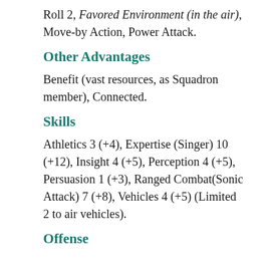Roll 2, Favored Environment (in the air), Move-by Action, Power Attack.
Other Advantages
Benefit (vast resources, as Squadron member), Connected.
Skills
Athletics 3 (+4), Expertise (Singer) 10 (+12), Insight 4 (+5), Perception 4 (+5), Persuasion 1 (+3), Ranged Combat(Sonic Attack) 7 (+8), Vehicles 4 (+5) (Limited 2 to air vehicles).
Offense